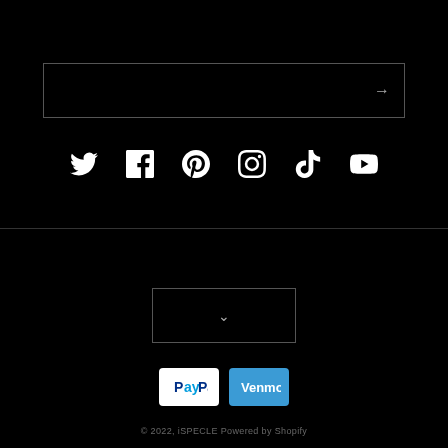[Figure (screenshot): Email/search input box with right arrow button, dark background with gray border]
[Figure (other): Row of social media icons: Twitter, Facebook, Pinterest, Instagram, TikTok, YouTube — white icons on black background]
[Figure (screenshot): Dropdown/language selector box with chevron down arrow, dark background with gray border]
[Figure (other): Payment method icons: PayPal (white badge) and Venmo (blue badge)]
© 2022, iSPECLE Powered by Shopify